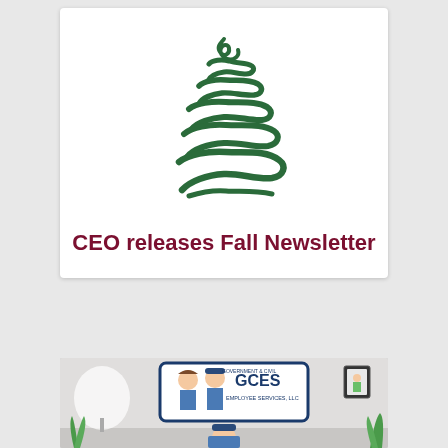[Figure (illustration): Stylized hand-drawn green tree logo made of swirling brush strokes forming a triangular tree shape]
CEO releases Fall Newsletter
[Figure (illustration): GCES Government & Civil Employee Services LLC logo with cartoon characters in blue uniforms, partially cropped screenshot of a video or webpage]